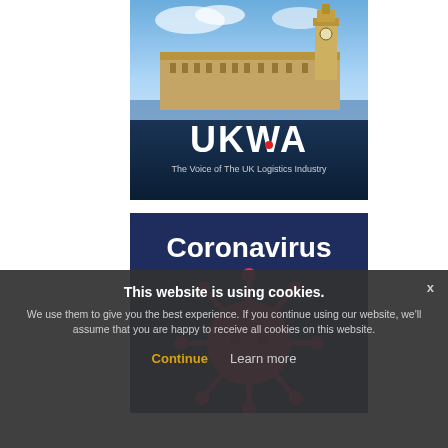[Figure (logo): UKWA banner image — Houses of Parliament / Big Ben in background with UKWA logo and text 'The Voice of The UK Logistics Industry']
[Figure (illustration): Coronavirus banner — dark blue background with large white bold 'Coronavirus' text and a red coronavirus particle illustration]
How Can I Protect My Business?
This website is using cookies. We use them to give you the best experience. If you continue using our website, we'll assume that you are happy to receive all cookies on this website.
Continue   Learn more